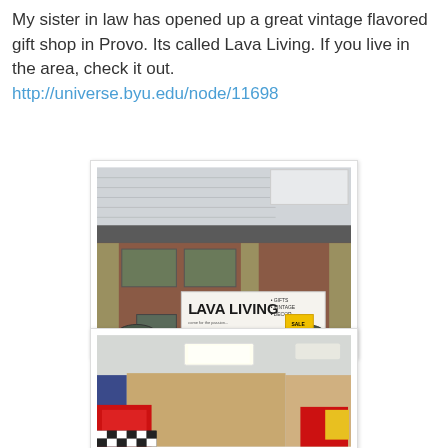My sister in law has opened up a great vintage flavored gift shop in Provo. Its called Lava Living. If you live in the area, check it out. http://universe.byu.edu/node/11698
[Figure (photo): Exterior photo of Lava Living store showing brick building with sign reading LAVA LIVING - Gifts, Vintage, Decor]
[Figure (photo): Interior photo of Lava Living store showing colorful interior with red furniture and ceiling lights]